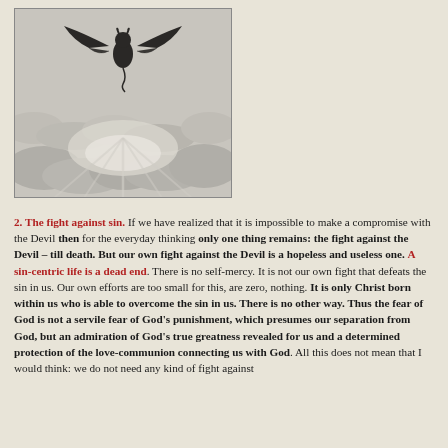[Figure (illustration): Black and white engraving of a demonic winged figure flying over cloudy skies]
2. The fight against sin. If we have realized that it is impossible to make a compromise with the Devil then for the everyday thinking only one thing remains: the fight against the Devil – till death. But our own fight against the Devil is a hopeless and useless one. A sin-centric life is a dead end. There is no self-mercy. It is not our own fight that defeats the sin in us. Our own efforts are too small for this, are zero, nothing. It is only Christ born within us who is able to overcome the sin in us. There is no other way. Thus the fear of God is not a servile fear of God's punishment, which presumes our separation from God, but an admiration of God's true greatness revealed for us and a determined protection of the love-communion connecting us with God. All this does not mean that I would think: we do not need any kind of fight against